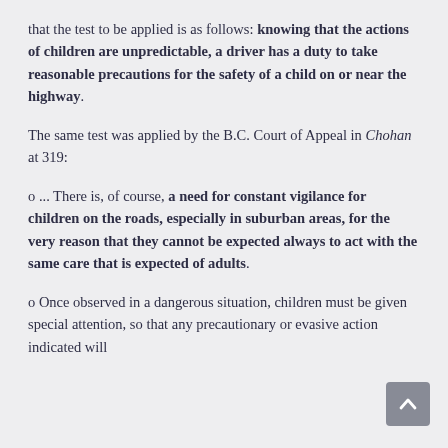that the test to be applied is as follows: knowing that the actions of children are unpredictable, a driver has a duty to take reasonable precautions for the safety of a child on or near the highway.
The same test was applied by the B.C. Court of Appeal in Chohan at 319:
o ... There is, of course, a need for constant vigilance for children on the roads, especially in suburban areas, for the very reason that they cannot be expected always to act with the same care that is expected of adults.
o Once observed in a dangerous situation, children must be given special attention, so that any precautionary or evasive action indicated will